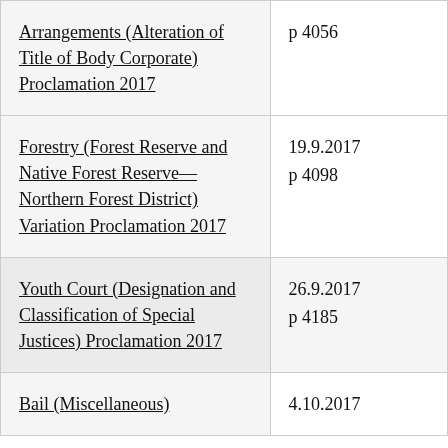| Arrangements (Alteration of Title of Body Corporate) Proclamation 2017 | p 4056 |
| Forestry (Forest Reserve and Native Forest Reserve—Northern Forest District) Variation Proclamation 2017 | 19.9.2017
p 4098 |
| Youth Court (Designation and Classification of Special Justices) Proclamation 2017 | 26.9.2017
p 4185 |
| Bail (Miscellaneous) | 4.10.2017 |